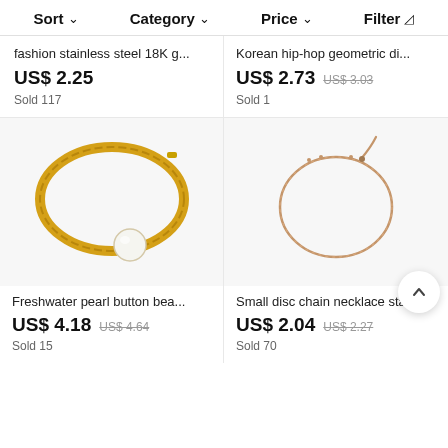Sort ∨   Category ∨   Price ∨   Filter
fashion stainless steel 18K g...
US$ 2.25
Sold 117
Korean hip-hop geometric di...
US$ 2.73   US$ 3.03
Sold 1
[Figure (photo): Gold chunky chain necklace with a freshwater pearl button bead centerpiece]
Freshwater pearl button bea...
US$ 4.18   US$ 4.64
Sold 15
[Figure (photo): Delicate rose gold small disc chain necklace with lobster clasp extender]
Small disc chain necklace sta...
US$ 2.04   US$ 2.27
Sold 70